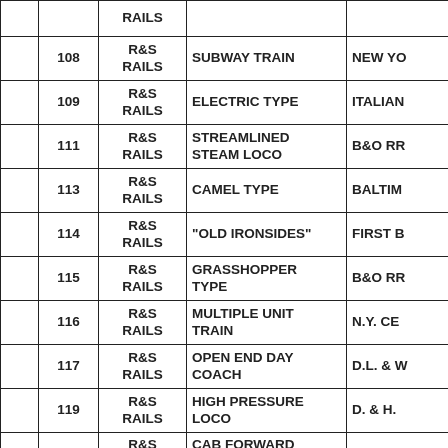|  |  | R&S RAILS |  |  |
| --- | --- | --- | --- | --- |
|  | 108 | R&S RAILS | SUBWAY TRAIN | NEW YO |
|  | 109 | R&S RAILS | ELECTRIC TYPE | ITALIAN |
|  | 111 | R&S RAILS | STREAMLINED STEAM LOCO | B&O RR |
|  | 113 | R&S RAILS | CAMEL TYPE | BALTIM |
|  | 114 | R&S RAILS | "OLD IRONSIDES" | FIRST B |
|  | 115 | R&S RAILS | GRASSHOPPER TYPE | B&O RR |
|  | 116 | R&S RAILS | MULTIPLE UNIT TRAIN | N.Y. CE |
|  | 117 | R&S RAILS | OPEN END DAY COACH | D.L. & W |
|  | 119 | R&S RAILS | HIGH PRESSURE LOCO | D. & H. |
|  | 120 | R&S RAILS | CAB FORWARD LOCO | SOUTH |